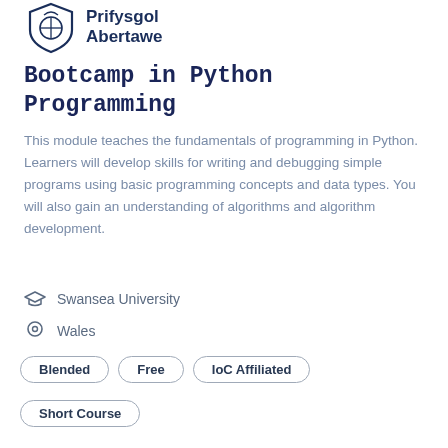[Figure (logo): Swansea University / Prifysgol Abertawe shield logo and text]
Bootcamp in Python Programming
This module teaches the fundamentals of programming in Python. Learners will develop skills for writing and debugging simple programs using basic programming concepts and data types. You will also gain an understanding of algorithms and algorithm development.
Swansea University
Wales
Blended
Free
IoC Affiliated
Short Course